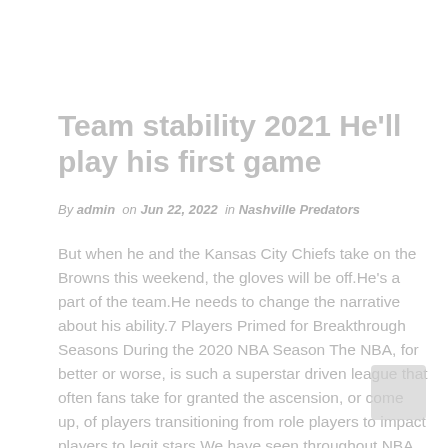Team stability 2021 He'll play his first game
By admin  on Jun 22, 2022  in Nashville Predators
But when he and the Kansas City Chiefs take on the Browns this weekend, the gloves will be off.He's a part of the team.He needs to change the narrative about his ability.7 Players Primed for Breakthrough Seasons During the 2020 NBA Season The NBA, for better or worse, is such a superstar driven league that often fans take for granted the ascension, or come up, of players transitioning from role players to impact players to legit stars.We have seen throughout NBA